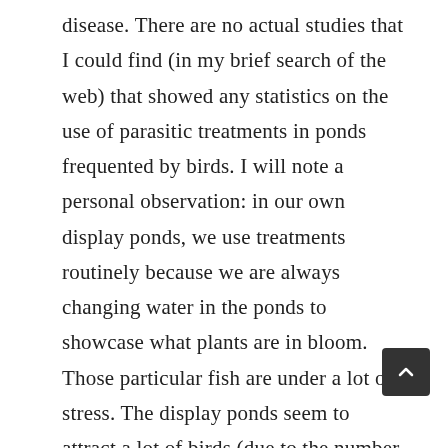disease. There are no actual studies that I could find (in my brief search of the web) that showed any statistics on the use of parasitic treatments in ponds frequented by birds. I will note a personal observation: in our own display ponds, we use treatments routinely because we are always changing water in the ponds to showcase what plants are in bloom. Those particular fish are under a lot of stress. The display ponds seem to attract a lot of birds (due to the number of rock water features). Some of our ponds are set up more like your home garden pond. The fish in those ponds do not get treated and we get just as many birds visiting them. We see no difference in parasite infections between the two different ponds systems. I hear similar accounts from my customers. The customers who have the most trouble with parasites and illness seem to be the ponds that are overstocked and have poor water quality. Be sure to choose any parasite remedies carefully. Some